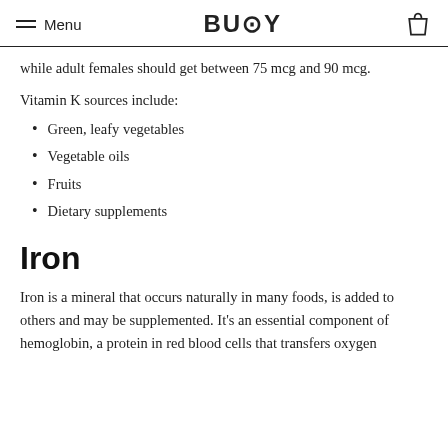Menu | BUOY
while adult females should get between 75 mcg and 90 mcg.
Vitamin K sources include:
Green, leafy vegetables
Vegetable oils
Fruits
Dietary supplements
Iron
Iron is a mineral that occurs naturally in many foods, is added to others and may be supplemented. It's an essential component of hemoglobin, a protein in red blood cells that transfers oxygen